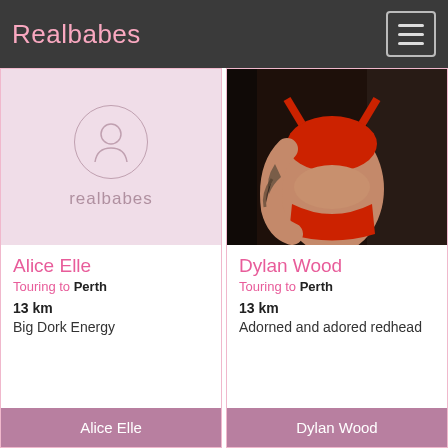Realbabes
[Figure (screenshot): Realbabes website listing page showing two escort profiles: Alice Elle and Dylan Wood, both touring to Perth, 13 km away]
Alice Elle
Touring to Perth
13 km
Big Dork Energy
Dylan Wood
Touring to Perth
13 km
Adorned and adored redhead